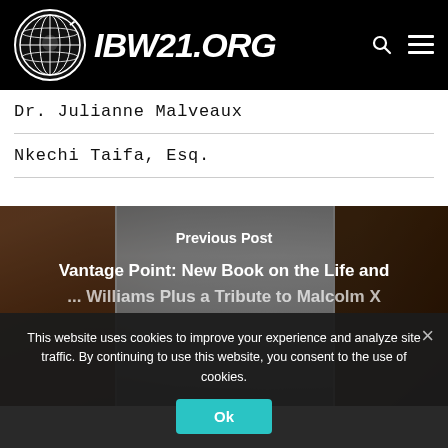IBW21.ORG
Dr. Julianne Malveaux
Nkechi Taifa, Esq.
[Figure (photo): Photo collage showing three individuals; left: a woman with dark hair, center: a man in grayscale, right: a man wearing glasses and a hat. Overlaid text reads 'Previous Post' and 'Vantage Point: New Book on the Life and [continues]']
This website uses cookies to improve your experience and analyze site traffic. By continuing to use this website, you consent to the use of cookies.
Ok